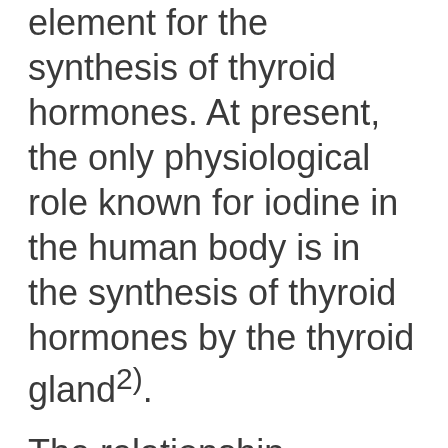element for the synthesis of thyroid hormones. At present, the only physiological role known for iodine in the human body is in the synthesis of thyroid hormones by the thyroid gland2).
The relationship between iodine deficiency and thyroid disease was known